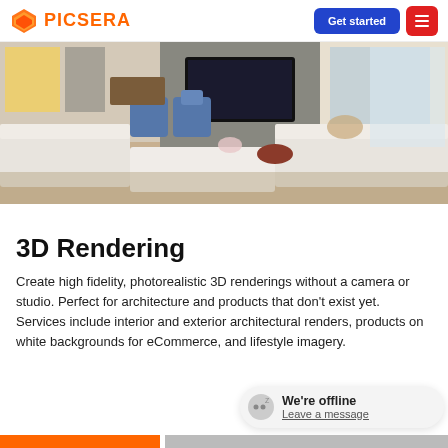PICSERA | Get started | menu
[Figure (photo): Photorealistic 3D rendering of a modern interior living room with white sofas, blue accent chairs, a large TV mounted on the wall, dining area in background, and natural light from windows.]
3D Rendering
Create high fidelity, photorealistic 3D renderings without a camera or studio. Perfect for architecture and products that don't exist yet. Services include interior and exterior architectural renders, products on white backgrounds for eCommerce, and lifestyle imagery.
We're offline
Leave a message